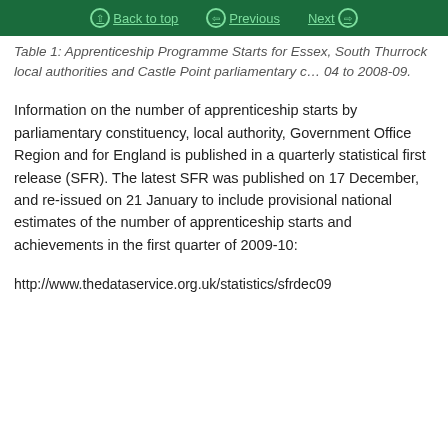Back to top | Previous | Next
Table 1: Apprenticeship Programme Starts for Essex, South Thurrock local authorities and Castle Point parliamentary constituency 2003-04 to 2008-09.
Information on the number of apprenticeship starts by parliamentary constituency, local authority, Government Office Region and for England is published in a quarterly statistical first release (SFR). The latest SFR was published on 17 December, and re-issued on 21 January to include provisional national estimates of the number of apprenticeship starts and achievements in the first quarter of 2009-10:
http://www.thedataservice.org.uk/statistics/sfrdec09